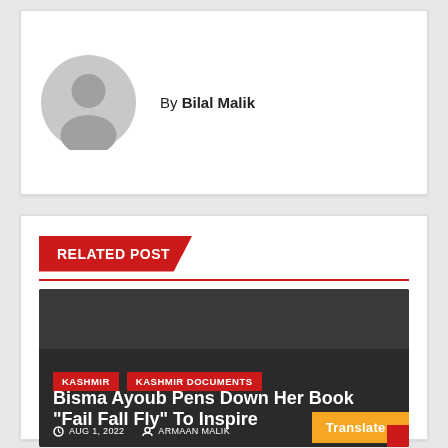By Bilal Malik
RELATED POST
[Figure (photo): Dark article card with KASHMIR and KASHMIR DOCUMENTS tags, title 'Bisma Ayoub Pens Down Her Book "Fail Fall Fly" To Inspire', date AUG 1, 2022, author ARMAAN MALIK, Translate button]
AUG 1, 2022   ARMAAN MALIK